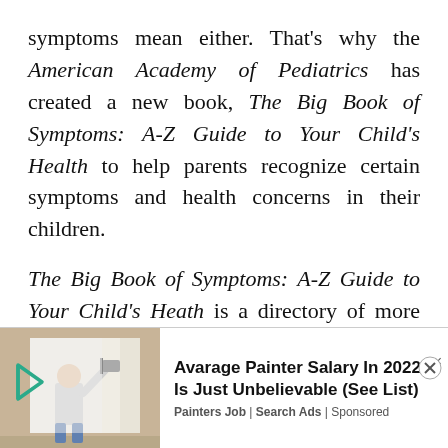symptoms mean either. That's why the American Academy of Pediatrics has created a new book, The Big Book of Symptoms: A-Z Guide to Your Child's Health to help parents recognize certain symptoms and health concerns in their children.
The Big Book of Symptoms: A-Z Guide to Your Child's Heath is a directory of more than 1000 of the most common childhood symptoms from infancy to adolescent. With this new book parents can evaluate their child's symptoms and distinguish minor everyday concerns from more serious conditions.
[Figure (photo): Advertisement banner showing a painter painting a wall, with ad text 'Avarage Painter Salary In 2022 Is Just Unbelievable (See List)' from Painters Job | Search Ads, Sponsored]